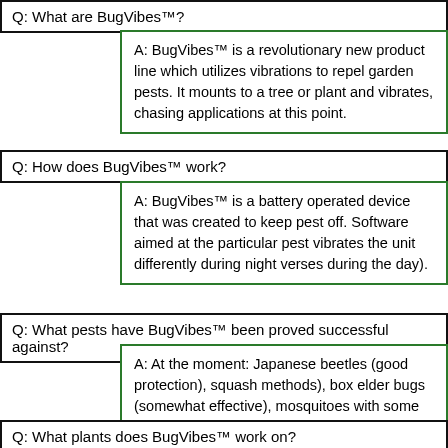Q: What are BugVibes™?
A: BugVibes™ is a revolutionary new product line which utilizes vibrations to repel garden pests. It mounts to a tree or plant and vibrates, cha... applications at this point.
Q: How does BugVibes™ work?
A: BugVibes™ is a battery operated device that was created... pest off. Software aimed at the particular pest vibrates the... during night verses during the day).
Q: What pests have BugVibes™ been proved successful against?
A: At the moment: Japanese beetles (good protection), squ... methods), box elder bugs (somewhat effective), mosquitoe... with some limited damage where bird damage was previou...
Q: What plants does BugVibes™ work on?